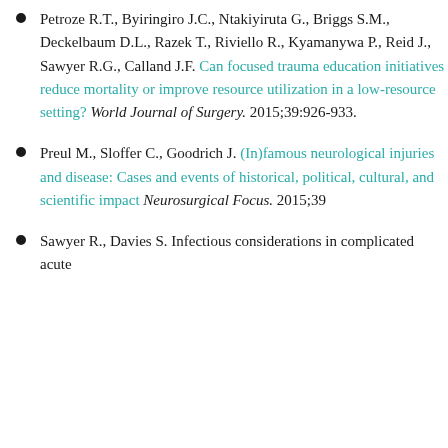Petroze R.T., Byiringiro J.C., Ntakiyiruta G., Briggs S.M., Deckelbaum D.L., Razek T., Riviello R., Kyamanywa P., Reid J., Sawyer R.G., Calland J.F. Can focused trauma education initiatives reduce mortality or improve resource utilization in a low-resource setting? World Journal of Surgery. 2015;39:926-933.
Preul M., Sloffer C., Goodrich J. (In)famous neurological injuries and disease: Cases and events of historical, political, cultural, and scientific impact Neurosurgical Focus. 2015;39
Sawyer R., Davies S. Infectious considerations in complicated acute